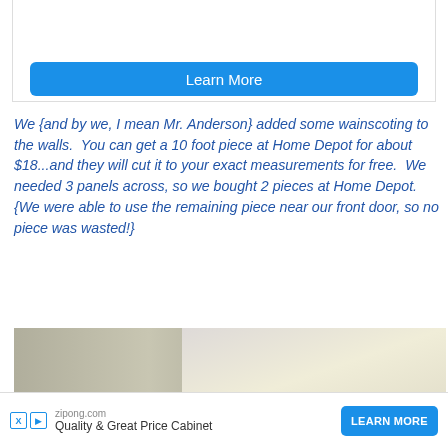Spaces:
zipong.com
Learn More
We {and by we, I mean Mr. Anderson} added some wainscoting to the walls.  You can get a 10 foot piece at Home Depot for about $18...and they will cut it to your exact measurements for free.  We needed 3 panels across, so we bought 2 pieces at Home Depot.  {We were able to use the remaining piece near our front door, so no piece was wasted!}
[Figure (photo): Photo of white wainscoting panels installed on a wall, showing the corner and flat panel sections against a light-colored wall.]
zipong.com  Quality & Great Price Cabinet  LEARN MORE